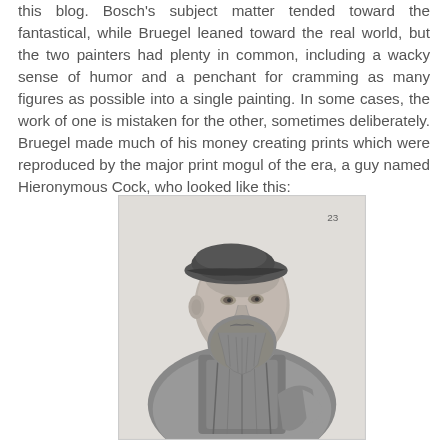this blog. Bosch's subject matter tended toward the fantastical, while Bruegel leaned toward the real world, but the two painters had plenty in common, including a wacky sense of humor and a penchant for cramming as many figures as possible into a single painting. In some cases, the work of one is mistaken for the other, sometimes deliberately. Bruegel made much of his money creating prints which were reproduced by the major print mogul of the era, a guy named Hieronymous Cock, who looked like this:
[Figure (illustration): A black and white engraved portrait of Hieronymous Cock, a bearded man wearing a beret and ornate Renaissance-era clothing with a ruff collar, shown in three-quarter view.]